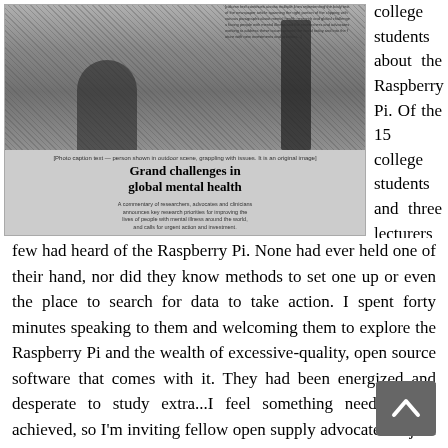[Figure (photo): Newspaper clipping showing a grayscale photo of a person crouching outdoors near a tree, with headline 'Grand challenges in global mental health' and subtitle text about research priorities for improving lives of people with mental illness around the world.]
college students about the Raspberry Pi. Of the 15 college students and three lecturers there, just a few had heard of the Raspberry Pi. None had ever held one of their hand, nor did they know methods to set one up or even the place to search for data to take action. I spent forty minutes speaking to them and welcoming them to explore the Raspberry Pi and the wealth of excessive-quality, open source software that comes with it. They had been energized and desperate to study extra...I feel something needs to be achieved, so I'm inviting fellow open supply advocates to join me in making minor investments of